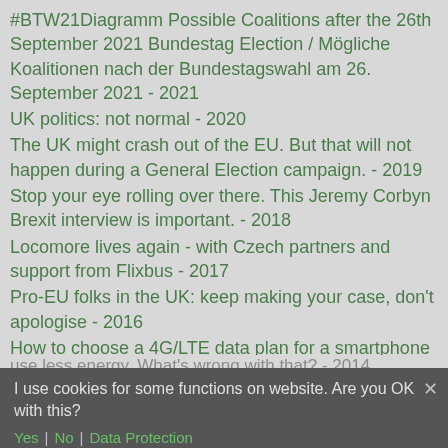#BTW21Diagramm Possible Coalitions after the 26th September 2021 Bundestag Election / Mögliche Koalitionen nach der Bundestagswahl am 26. September 2021 - 2021
UK politics: not normal - 2020
The UK might crash out of the EU. But that will not happen during a General Election campaign. - 2019
Stop your eye rolling over there. This Jeremy Corbyn Brexit interview is important. - 2018
Locomore lives again - with Czech partners and support from Flixbus - 2017
Pro-EU folks in the UK: keep making your case, don't apologise - 2016
How to choose a 4G/LTE data plan for a smartphone in Germany - 2015
Vacuum cleaners: EU law to solve a market failure so as to use less energy. What's wrong with that? - 2014
Britain's blind faith in intelligence agencies - but why? - 2013
In praise of @DB_bahn (not the railway, but the Twitter account) - 2012
I use cookies for some functions on website. Are you OK with this?
Yes  No  Data Protection